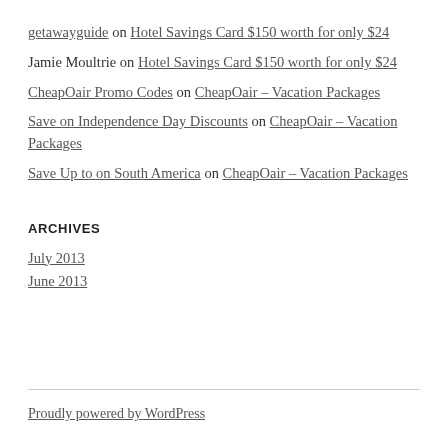getawayguide on Hotel Savings Card $150 worth for only $24
Jamie Moultrie on Hotel Savings Card $150 worth for only $24
CheapOair Promo Codes on CheapOair – Vacation Packages
Save on Independence Day Discounts on CheapOair – Vacation Packages
Save Up to on South America on CheapOair – Vacation Packages
ARCHIVES
July 2013
June 2013
Proudly powered by WordPress